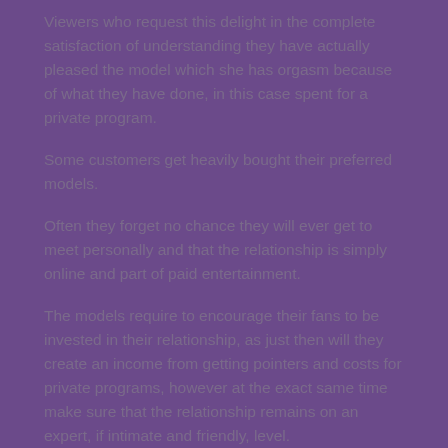Viewers who request this delight in the complete satisfaction of understanding they have actually pleased the model which she has orgasm because of what they have done, in this case spent for a private program.
Some customers get heavily bought their preferred models.
Often they forget no chance they will ever get to meet personally and that the relationship is simply online and part of paid entertainment.
The models require to encourage their fans to be invested in their relationship, as just then will they create an income from getting pointers and costs for private programs, however at the exact same time make sure that the relationship remains on an expert, if intimate and friendly, level.